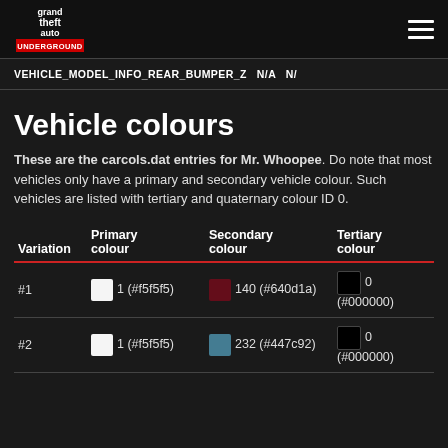Grand Theft Auto Underground — navigation header
VEHICLE_MODEL_INFO_REAR_BUMPER_Z   N/A   N/
Vehicle colours
These are the carcols.dat entries for Mr. Whoopee. Do note that most vehicles only have a primary and secondary vehicle colour. Such vehicles are listed with tertiary and quaternary colour ID 0.
| Variation | Primary colour | Secondary colour | Tertiary colour |
| --- | --- | --- | --- |
| #1 | 1 (#f5f5f5) | 140 (#640d1a) | 0 (#000000) |
| #2 | 1 (#f5f5f5) | 232 (#447c92) | 0 (#000000) |